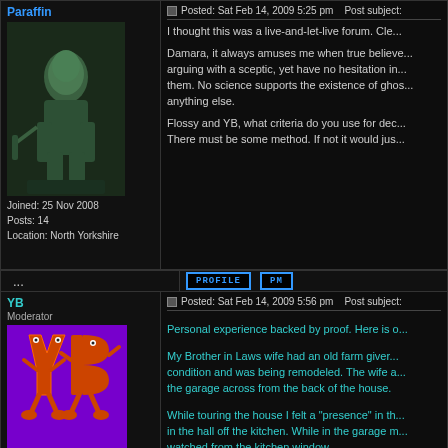Paraffin
[Figure (photo): Bronze statue of a seated Roman figure, greenish patina, photographed in dark setting]
Joined: 25 Nov 2008
Posts: 14
Location: North Yorkshire
Posted: Sat Feb 14, 2009 5:25 pm   Post subject:
I thought this was a live-and-let-live forum. Cle...

Damara, it always amuses me when true believers... arguing with a sceptic, yet have no hesitation in... them. No science supports the existence of ghos... anything else.

Flossy and YB, what criteria do you use for dec... There must be some method. If not it would jus...
...
PROFILE   PM
YB
Moderator
[Figure (illustration): Cartoon YB logo: orange letter Y and orange letter B characters with arms and legs on purple background]
Joined: 26 Nov 2006
Posts: 2167
Location: Pennsylvania, USA
Posted: Sat Feb 14, 2009 5:56 pm   Post subject:
Personal experience backed by proof. Here is o...

My Brother in Laws wife had an old farm giver... condition and was being remodeled. The wife a... the garage across from the back of the house.

While touring the house I felt a "presence" in th... in the hall off the kitchen. While in the garage m... watched from the kitchen window.

At night I felt someone was walking around out... The next day I left the wife and drove to d...